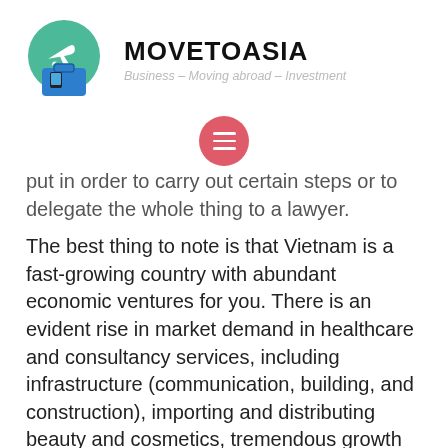[Figure (logo): MoveToAsia logo: green circle with white airplane and teal briefcase icon]
MOVETOASIA
Business – Moving abroad – Investment
[Figure (other): Red circular hamburger menu button with three white lines]
put in order to carry out certain steps or to delegate the whole thing to a lawyer.
The best thing to note is that Vietnam is a fast-growing country with abundant economic ventures for you. There is an evident rise in market demand in healthcare and consultancy services, including infrastructure (communication, building, and construction), importing and distributing beauty and cosmetics, tremendous growth of real estate industry, automobile industry, and agriculture. Th industries are creating a lot of opportunities for you as a foreigner. Once you acquire your TRC and all the
[Figure (other): Teal circular scroll-to-top arrow button]